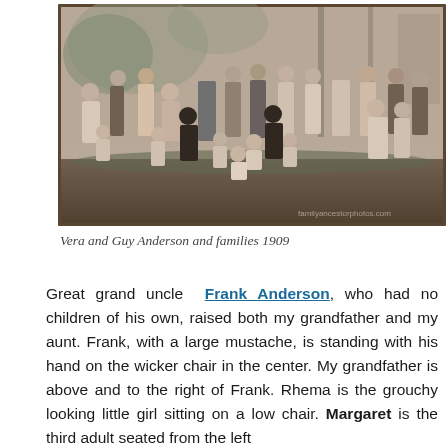[Figure (photo): Black and white photograph of a large family group posed outside a house with a porch, taken in 1909. Multiple adults and children are shown, some seated and some standing.]
Vera and Guy Anderson and families 1909
Great grand uncle Frank Anderson, who had no children of his own, raised both my grandfather and my aunt. Frank, with a large mustache, is standing with his hand on the wicker chair in the center. My grandfather is above and to the right of Frank. Rhema is the grouchy looking little girl sitting on a low chair. Margaret is the third adult seated from the left